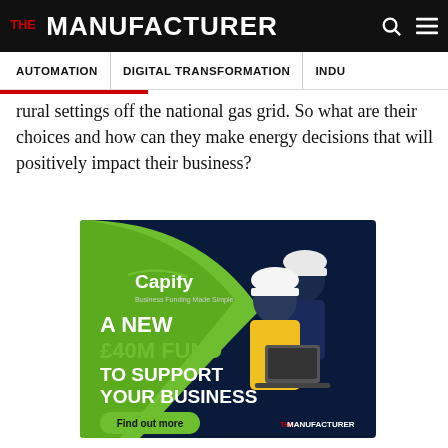THE MANUFACTURER
AUTOMATION | DIGITAL TRANSFORMATION | INDU...
rural settings off the national gas grid. So what are their choices and how can they make energy decisions that will positively impact their business?
[Figure (infographic): Capify advertisement: 'A NEW £40M FUND TO SUPPORT YOUR BUSINESS' with two workers in hard hats looking at a laptop, and a 'Find out more' button. THE MANUFACTURER logo at bottom right.]